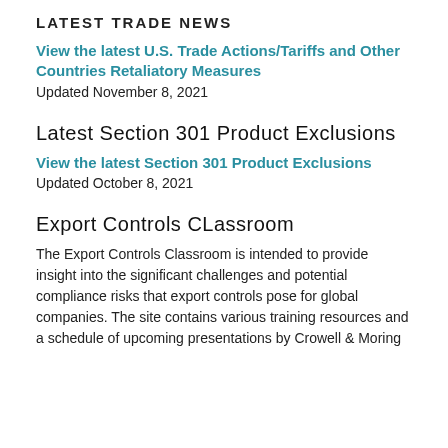LATEST TRADE NEWS
View the latest U.S. Trade Actions/Tariffs and Other Countries Retaliatory Measures
Updated November 8, 2021
Latest Section 301 Product Exclusions
View the latest Section 301 Product Exclusions
Updated October 8, 2021
Export Controls CLassroom
The Export Controls Classroom is intended to provide insight into the significant challenges and potential compliance risks that export controls pose for global companies. The site contains various training resources and a schedule of upcoming presentations by Crowell & Moring